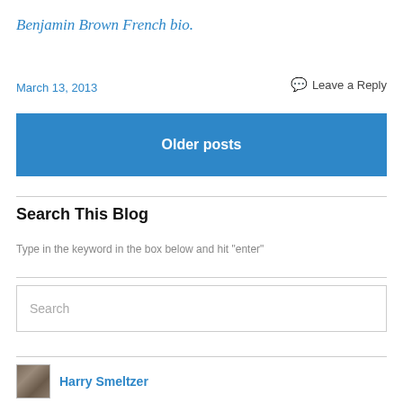Benjamin Brown French bio.
March 13, 2013
Leave a Reply
Older posts
Search This Blog
Type in the keyword in the box below and hit "enter"
Search
Harry Smeltzer